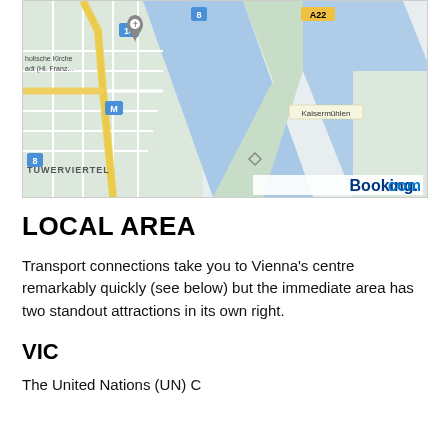[Figure (map): Map of Vienna area showing Kaisermühlen, roads labeled A22, 8, 14, a metro station M, holische Kirche adt (Hl. Franz...), and TUWERVIERTEL district, with Danube river channels visible. Booking.com logo in lower right.]
LOCAL AREA
Transport connections take you to Vienna's centre remarkably quickly (see below) but the immediate area has two standout attractions in its own right.
VIC
The United Nations (UN) Council house and Cent...